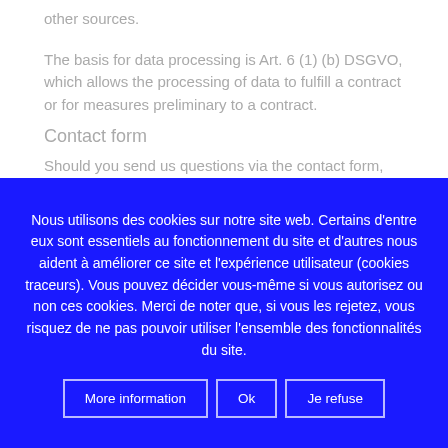other sources.
The basis for data processing is Art. 6 (1) (b) DSGVO, which allows the processing of data to fulfill a contract or for measures preliminary to a contract.
Contact form
Should you send us questions via the contact form,
Nous utilisons des cookies sur notre site web. Certains d'entre eux sont essentiels au fonctionnement du site et d'autres nous aident à améliorer ce site et l'expérience utilisateur (cookies traceurs). Vous pouvez décider vous-même si vous autorisez ou non ces cookies. Merci de noter que, si vous les rejetez, vous risquez de ne pas pouvoir utiliser l'ensemble des fonctionnalités du site.
More information  Ok  Je refuse